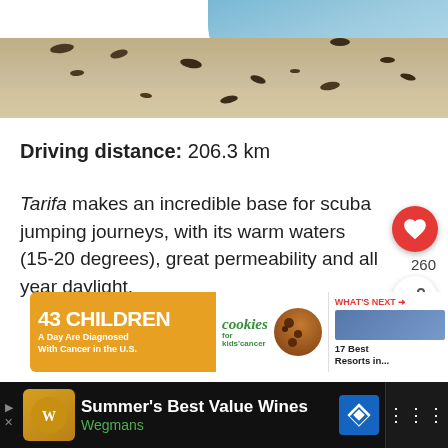[Figure (photo): Beach scene with sand and water, dark pebbles/shells scattered on sandy shore with blue water visible at top right]
Driving distance: 206.3 km
Tarifa makes an incredible base for scuba jumping journeys, with its warm waters (15-20 degrees), great permeability and all year daylight.
[Figure (other): Advertisement banner: 43 CHILDREN A Day Are Diagnosed With Cancer in the U.S. - cookies for kids' cancer]
[Figure (other): Bottom advertisement bar: Summer's Best Value Wines - Wegmans]